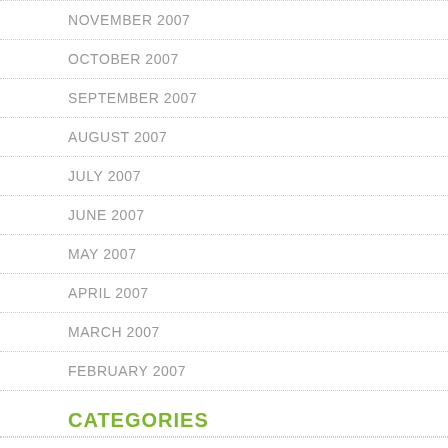NOVEMBER 2007
OCTOBER 2007
SEPTEMBER 2007
AUGUST 2007
JULY 2007
JUNE 2007
MAY 2007
APRIL 2007
MARCH 2007
FEBRUARY 2007
CATEGORIES
CELL CHURCH MINISTRY